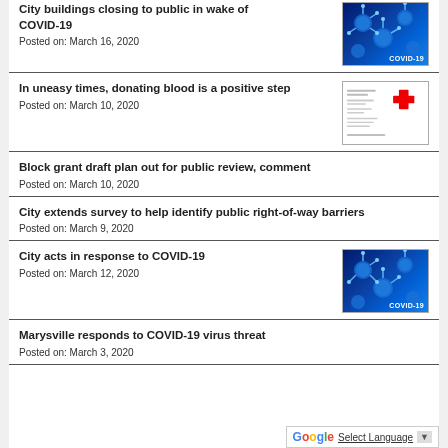City buildings closing to public in wake of COVID-19
Posted on: March 16, 2020
[Figure (photo): Blue microscopic COVID-19 virus particles with COVID-19 label]
In uneasy times, donating blood is a positive step
Posted on: March 10, 2020
[Figure (photo): Blood donation flyer with red cross symbol]
Block grant draft plan out for public review, comment
Posted on: March 10, 2020
City extends survey to help identify public right-of-way barriers
Posted on: March 9, 2020
City acts in response to COVID-19
Posted on: March 12, 2020
[Figure (photo): Blue microscopic COVID-19 virus particles with COVID-19 label]
Marysville responds to COVID-19 virus threat
Posted on: March 3, 2020